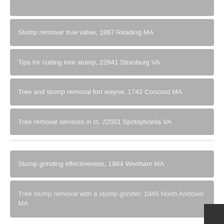Stump remover true value, 1867 Reading MA
Tips for cutting tree stump, 22641 Strasburg VA
Tree and stump removal fort wayne, 1742 Concord MA
Tree removal services in ct, 22551 Spotsylvania VA
Stump grinding effectiveness, 1984 Wenham MA
Tree stump removal with a stump grinder, 1845 North Andover MA